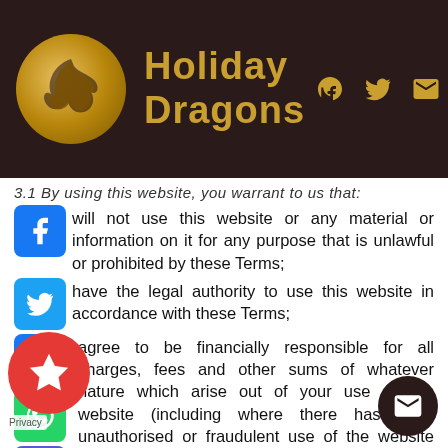Holiday Dragons
3.1 By using this website, you warrant to us that:
will not use this website or any material or information on it for any purpose that is unlawful or prohibited by these Terms;
have the legal authority to use this website in accordance with these Terms;
agree to be financially responsible for all charges, fees and other sums of whatever nature which arise out of your use of this website (including where there has been unauthorised or fraudulent use of the website under your log-in details);
the information that you provide for the booking shall be true and accurate.